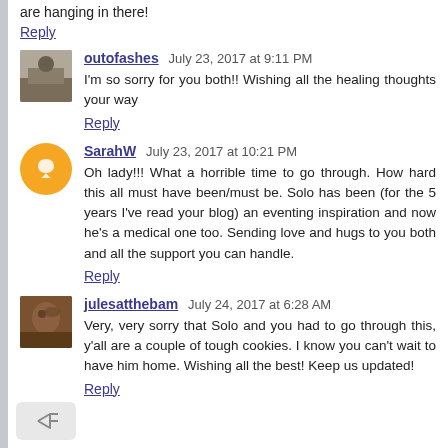are hanging in there!
Reply
outofashes  July 23, 2017 at 9:11 PM
I'm so sorry for you both!! Wishing all the healing thoughts your way
Reply
SarahW  July 23, 2017 at 10:21 PM
Oh lady!!! What a horrible time to go through. How hard this all must have been/must be. Solo has been (for the 5 years I've read your blog) an eventing inspiration and now he's a medical one too. Sending love and hugs to you both and all the support you can handle.
Reply
julesatthebam  July 24, 2017 at 6:28 AM
Very, very sorry that Solo and you had to go through this, y'all are a couple of tough cookies. I know you can't wait to have him home. Wishing all the best! Keep us updated!
Reply